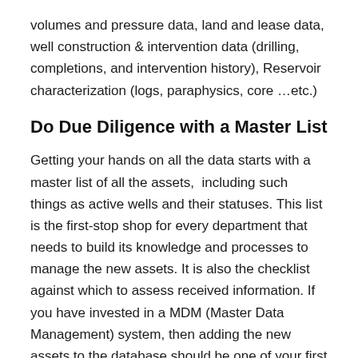volumes and pressure data, land and lease data, well construction & intervention data (drilling, completions, and intervention history), Reservoir characterization (logs, paraphysics, core …etc.)
Do Due Diligence with a Master List
Getting your hands on all the data starts with a master list of all the assets,  including such things as active wells and their statuses. This list is the first-stop shop for every department that needs to build its knowledge and processes to manage the new assets. It is also the checklist against which to assess received information. If you have invested in a MDM (Master Data Management) system, then adding the new assets to the database should be one of your first steps.